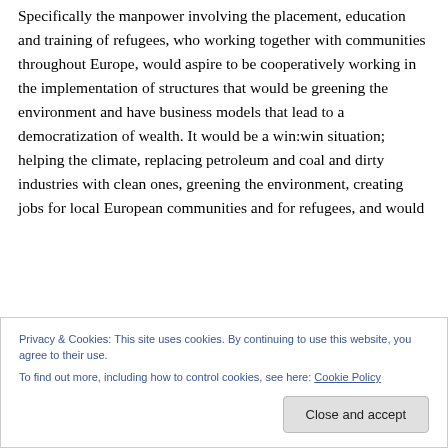Specifically the manpower involving the placement, education and training of refugees, who working together with communities throughout Europe, would aspire to be cooperatively working in the implementation of structures that would be greening the environment and have business models that lead to a democratization of wealth. It would be a win:win situation; helping the climate, replacing petroleum and coal and dirty industries with clean ones, greening the environment, creating jobs for local European communities and for refugees, and would
Privacy & Cookies: This site uses cookies. By continuing to use this website, you agree to their use.
To find out more, including how to control cookies, see here: Cookie Policy